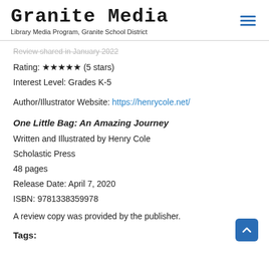Granite Media
Library Media Program, Granite School District
Review shared in January 2022
Rating: ★★★★★ (5 stars)
Interest Level: Grades K-5
Author/Illustrator Website: https://henrycole.net/
One Little Bag: An Amazing Journey
Written and Illustrated by Henry Cole
Scholastic Press
48 pages
Release Date: April 7, 2020
ISBN: 9781338359978
A review copy was provided by the publisher.
Tags: